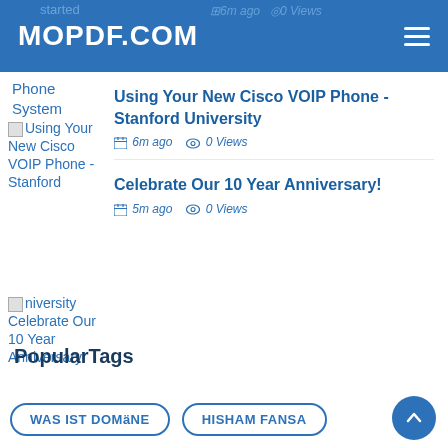MOPDF.COM
Phone System Using Your New Cisco VOIP Phone - Stanford University Celebrate Our 10 Year Anniversary!
Using Your New Cisco VOIP Phone - Stanford University
6m ago  0 Views
Celebrate Our 10 Year Anniversary!
5m ago  0 Views
PopularTags
WAS IST DOMäNE
HISHAM FANSA